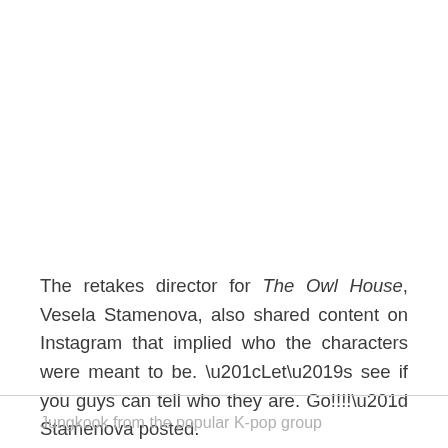The retakes director for The Owl House, Vesela Stamenova, also shared content on Instagram that implied who the characters were meant to be. “Let’s see if you guys can tell who they are. Go!!!!” Stamenova posted.
Jungkook from the popular K-pop group